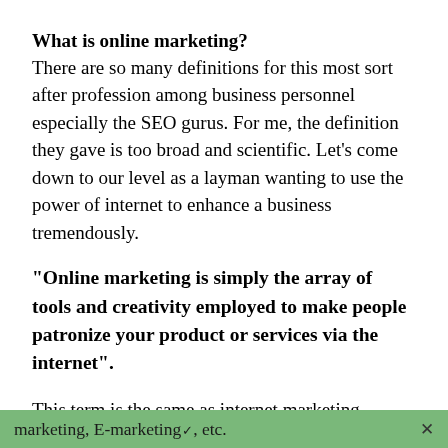What is online marketing?
There are so many definitions for this most sort after profession among business personnel especially the SEO gurus. For me, the definition they gave is too broad and scientific. Let’s come down to our level as a layman wanting to use the power of internet to enhance a business tremendously.
“Online marketing is simply the array of tools and creativity employed to make people patronize your product or services via the internet”.
This term is the same as internet marketing, online advertising, web marketing, I-marketing, E-marketing, etc.
marketing, E-marketing, etc.